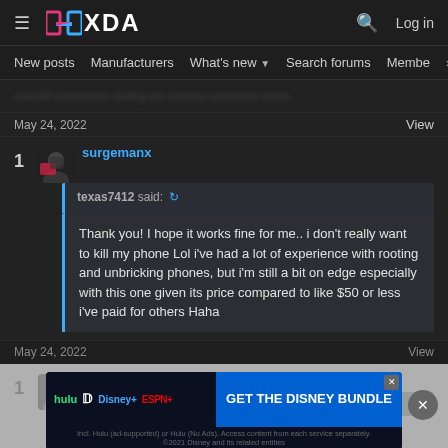XDA — New posts | Manufacturers | What's new | Search forums | Members
May 24, 2022   View
surgemanx
texas7412 said:
Thank you! I hope it works fine for me.. i don't really want to kill my phone Lol i've had a lot of experience with rooting and unbricking phones, but i'm still a bit on edge especially with this one given its price compared to like $50 or less i've paid for others Haha
May 24, 2022   View
[Figure (screenshot): Disney Bundle advertisement: hulu, Disney+, ESPN+ — GET THE DISNEY BUNDLE. Incl. Hulu (ad-supported) or Hulu (No Ads). Access content from each service separately. ©2021 Disney and its related entities]